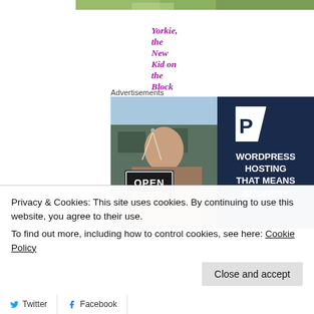[Figure (photo): Top partial image showing green foliage/landscape]
Yorkie, the New Kid on the Block
Advertisements
[Figure (photo): WordPress hosting advertisement banner. Left side shows a smiling woman holding an OPEN sign in front of a shop. Right side has dark navy background with a P logo and text: WORDPRESS HOSTING THAT MEANS BUSINESS.]
Privacy & Cookies: This site uses cookies. By continuing to use this website, you agree to their use.
To find out more, including how to control cookies, see here: Cookie Policy
Close and accept
Twitter  Facebook